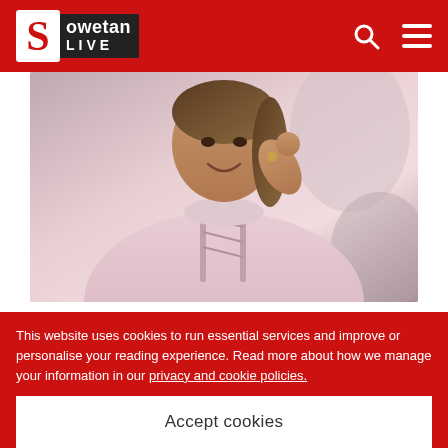Sowetan LIVE
[Figure (photo): Woman in pink lace-up turtleneck sweater, sitting with hand near her face, smiling]
Dineo Ranaka opens up about the backlash she got.
Image: Instagram/ Dineo Ranaka
Dineo Ranaka has hit back at those who criticised her decision to become a club DJ, explaining that she is not going to compromise herself to make others feel better about themselves.
This website uses cookies to run essential services and improve or personalise your reading experience. Read more about how we manage your information in our privacy and cookie policies.
Accept cookies